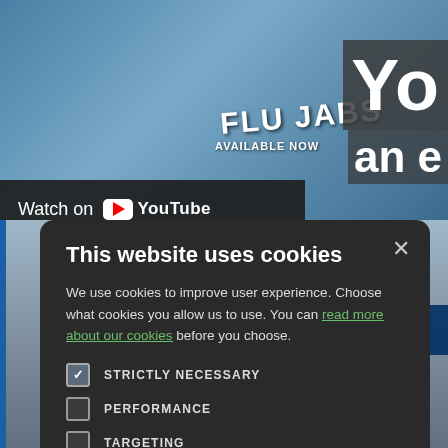[Figure (screenshot): Background showing a pharmacy/NHS setting with 'FLU JABS AVAILABLE NOW' sign and a YouTube 'Watch on YouTube' bar visible, plus partial text 'Yo' and 'an e' on right side, with NHS label and a person partially visible]
This website uses cookies
We use cookies to improve user experience. Choose what cookies you allow us to use. You can read more about our cookies before you choose.
STRICTLY NECESSARY
PERFORMANCE
TARGETING
FUNCTIONALITY
ACCEPT ALL
DECLINE ALL